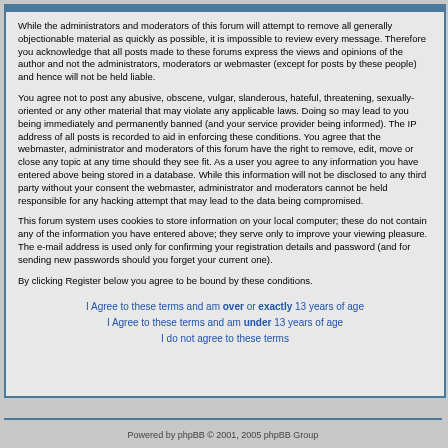While the administrators and moderators of this forum will attempt to remove all generally objectionable material as quickly as possible, it is impossible to review every message. Therefore you acknowledge that all posts made to these forums express the views and opinions of the author and not the administrators, moderators or webmaster (except for posts by these people) and hence will not be held liable.
You agree not to post any abusive, obscene, vulgar, slanderous, hateful, threatening, sexually-oriented or any other material that may violate any applicable laws. Doing so may lead to you being immediately and permanently banned (and your service provider being informed). The IP address of all posts is recorded to aid in enforcing these conditions. You agree that the webmaster, administrator and moderators of this forum have the right to remove, edit, move or close any topic at any time should they see fit. As a user you agree to any information you have entered above being stored in a database. While this information will not be disclosed to any third party without your consent the webmaster, administrator and moderators cannot be held responsible for any hacking attempt that may lead to the data being compromised.
This forum system uses cookies to store information on your local computer; these do not contain any of the information you have entered above; they serve only to improve your viewing pleasure. The e-mail address is used only for confirming your registration details and password (and for sending new passwords should you forget your current one).
By clicking Register below you agree to be bound by these conditions.
I Agree to these terms and am over or exactly 13 years of age
I Agree to these terms and am under 13 years of age
I do not agree to these terms
Powered by phpBB © 2001, 2005 phpBB Group